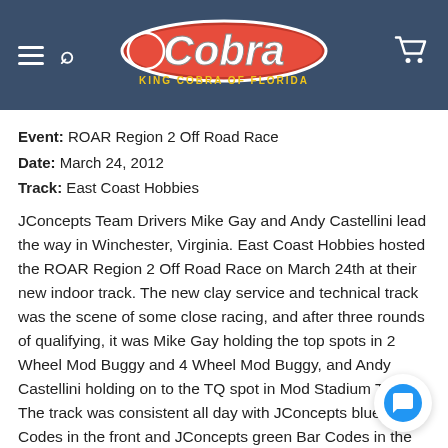[Figure (logo): King Cobra of Florida logo with hamburger menu icon, search icon on the left, and cart icon on the right, on a dark blue-grey header bar]
Event: ROAR Region 2 Off Road Race
Date: March 24, 2012
Track: East Coast Hobbies
JConcepts Team Drivers Mike Gay and Andy Castellini lead the way in Winchester, Virginia. East Coast Hobbies hosted the ROAR Region 2 Off Road Race on March 24th at their new indoor track. The new clay service and technical track was the scene of some close racing, and after three rounds of qualifying, it was Mike Gay holding the top spots in 2 Wheel Mod Buggy and 4 Wheel Mod Buggy, and Andy Castellini holding on to the TQ spot in Mod Stadium Truck. The track was consistent all day with JConcepts blue Bar Codes in the front and JConcepts green Bar Codes in the rear being the winning combination. The new medium Profiled Insert was the perf choice for the grip needed to maintain the speed through the turns.